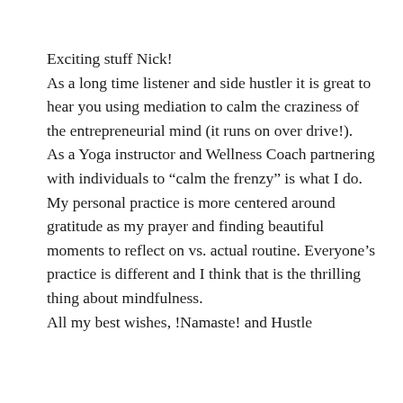Exciting stuff Nick! As a long time listener and side hustler it is great to hear you using mediation to calm the craziness of the entrepreneurial mind (it runs on over drive!). As a Yoga instructor and Wellness Coach partnering with individuals to “calm the frenzy” is what I do. My personal practice is more centered around gratitude as my prayer and finding beautiful moments to reflect on vs. actual routine. Everyone’s practice is different and I think that is the thrilling thing about mindfulness. All my best wishes, !Namaste! and Hustle